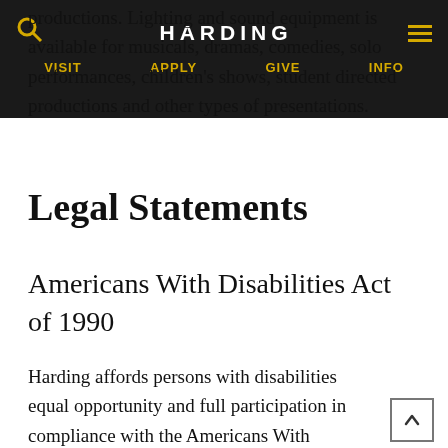HARDING | VISIT | APPLY | GIVE | INFO
productions. Lighting and sound equipment is available for musicals, dramas, comedies, solo performances, children's shows, student directed productions and other types of presentations.
Legal Statements
Americans With Disabilities Act of 1990
Harding affords persons with disabilities equal opportunity and full participation in compliance with the Americans With Disabilities Act of 1990.